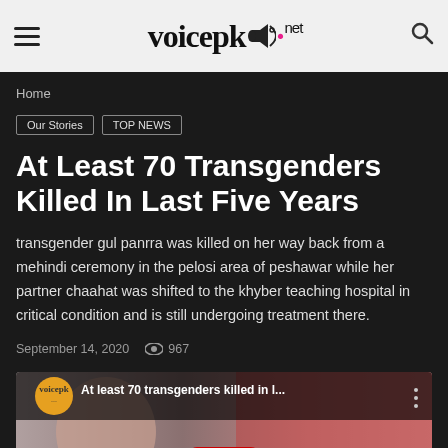voicepk.net
Home
Our Stories   TOP NEWS
At Least 70 Transgenders Killed In Last Five Years
transgender gul panrra was killed on her way back from a mehindi ceremony in the pelosi area of peshawar while her partner chaahat was shifted to the khyber teaching hospital in critical condition and is still undergoing treatment there.
September 14, 2020   967
[Figure (screenshot): YouTube video thumbnail showing a woman's portrait with voicepk logo, title 'At least 70 transgenders killed in l...' and a YouTube play button overlay]